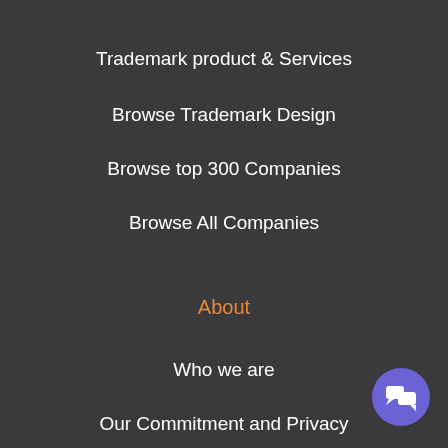Trademark product & Services
Browse Trademark Design
Browse top 300 Companies
Browse All Companies
About
Who we are
Our Commitment and Privacy
Press Coverage
Terms & Conditions
Sitemap